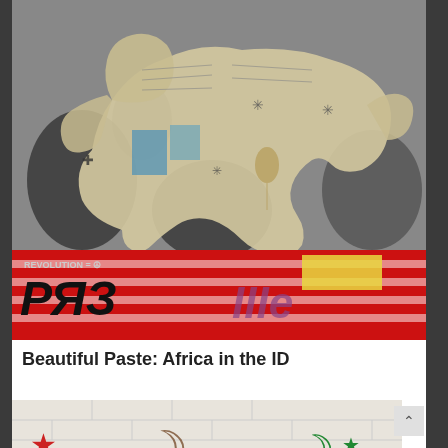[Figure (photo): Street art / collage artwork depicting an elephant shape made from newspaper clippings and mixed media on a grey textured wall. Below the elephant is a red sign with graffiti reading 'REVOLUTION = peace symbol' and bold black graffiti tags over red and white stripes.]
Beautiful Paste: Africa in the ID
[Figure (photo): Partial view of a white brick wall with crescent moon and star symbols painted in red and green, Islamic iconography style.]